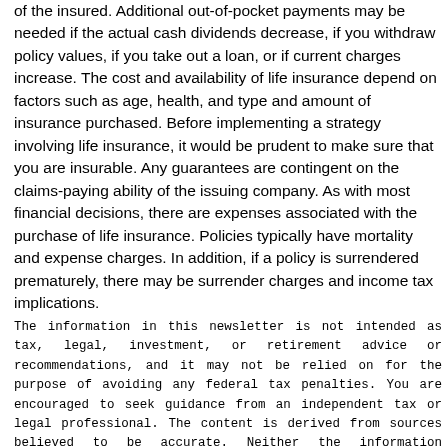of the insured. Additional out-of-pocket payments may be needed if the actual cash dividends decrease, if you withdraw policy values, if you take out a loan, or if current charges increase. The cost and availability of life insurance depend on factors such as age, health, and type and amount of insurance purchased. Before implementing a strategy involving life insurance, it would be prudent to make sure that you are insurable. Any guarantees are contingent on the claims-paying ability of the issuing company. As with most financial decisions, there are expenses associated with the purchase of life insurance. Policies typically have mortality and expense charges. In addition, if a policy is surrendered prematurely, there may be surrender charges and income tax implications.
The information in this newsletter is not intended as tax, legal, investment, or retirement advice or recommendations, and it may not be relied on for the purpose of avoiding any federal tax penalties. You are encouraged to seek guidance from an independent tax or legal professional. The content is derived from sources believed to be accurate. Neither the information presented nor any